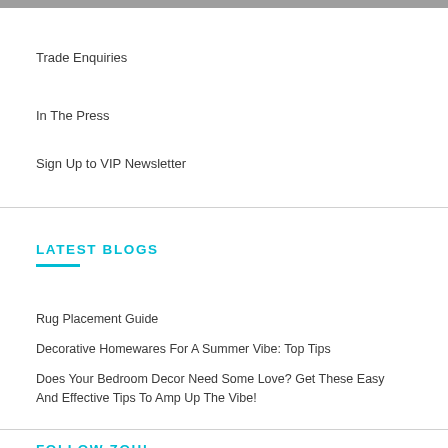Trade Enquiries
In The Press
Sign Up to VIP Newsletter
LATEST BLOGS
Rug Placement Guide
Decorative Homewares For A Summer Vibe: Top Tips
Does Your Bedroom Decor Need Some Love? Get These Easy And Effective Tips To Amp Up The Vibe!
FOLLOW ZOHI